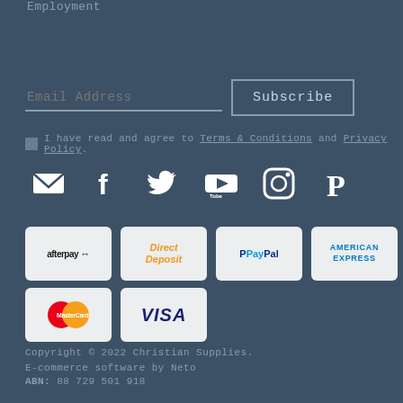Employment
Email Address
Subscribe
I have read and agree to Terms & Conditions and Privacy Policy.
[Figure (illustration): Social media icons: email/envelope, Facebook, Twitter, YouTube, Instagram, Pinterest]
[Figure (illustration): Payment method logos: Afterpay, Direct Deposit, PayPal, American Express, MasterCard, Visa]
Copyright © 2022 Christian Supplies.
E-commerce software by Neto
ABN: 88 729 501 918